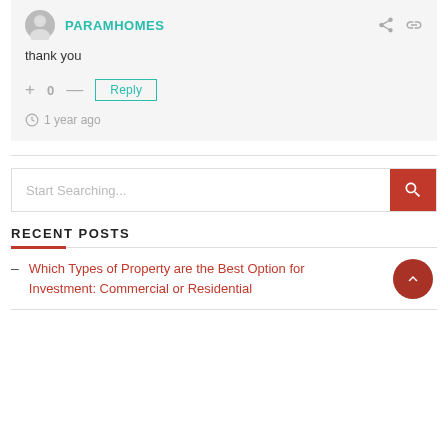PARAMHOMES
thank you
+ 0 —  Reply
1 year ago
Start Searching...
RECENT POSTS
– Which Types of Property are the Best Option for Investment: Commercial or Residential